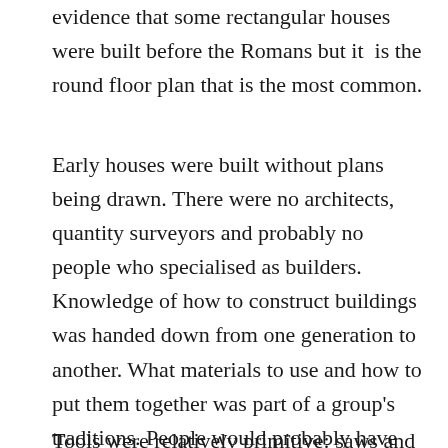evidence that some rectangular houses were built before the Romans but it is the round floor plan that is the most common.
Early houses were built without plans being drawn. There were no architects, quantity surveyors and probably no people who specialised as builders. Knowledge of how to construct buildings was handed down from one generation to another. What materials to use and how to put them together was part of a group's traditions. People would probably have known how to fell trees, which trees to cut, what materials were available in the woods or from the swamp areas or from river banks.
Tools were relatively primitive: saws and